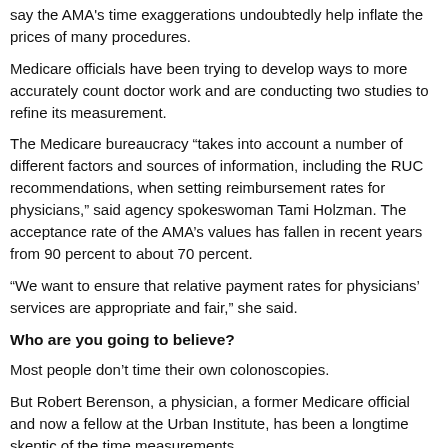say the AMA's time exaggerations undoubtedly help inflate the prices of many procedures.
Medicare officials have been trying to develop ways to more accurately count doctor work and are conducting two studies to refine its measurement.
The Medicare bureaucracy “takes into account a number of different factors and sources of information, including the RUC recommendations, when setting reimbursement rates for physicians,” said agency spokeswoman Tami Holzman. The acceptance rate of the AMA’s values has fallen in recent years from 90 percent to about 70 percent.
“We want to ensure that relative payment rates for physicians’ services are appropriate and fair,” she said.
Who are you going to believe?
Most people don’t time their own colonoscopies.
But Robert Berenson, a physician, a former Medicare official and now a fellow at the Urban Institute, has been a longtime skeptic of the time measurements.
When he had his own, Berenson checked his watch.
The actual procedure time — “scope in to scope out” — was exactly half of what Medicare estimates.